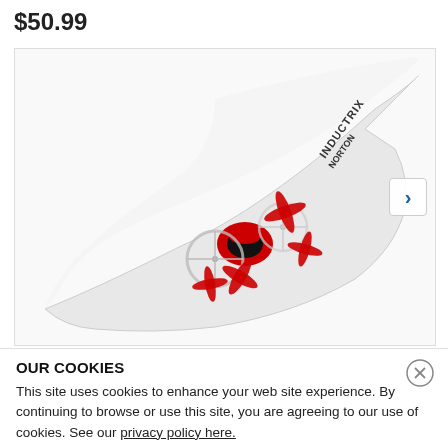$50.99
[Figure (photo): A white drone or RC aircraft with red propellers and a swept wing design, branded with 'INDUCTRIX' and 'AIR' text. The drone body is red and black, attached to a large curved white wing.]
OUR COOKIES
This site uses cookies to enhance your web site experience. By continuing to browse or use this site, you are agreeing to our use of cookies. See our privacy policy here.
ACCEPT COOKIES